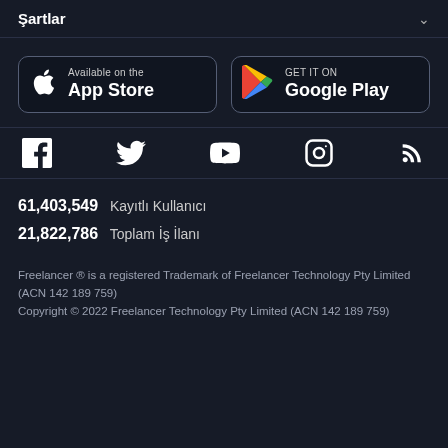Şartlar
[Figure (logo): App Store and Google Play store download buttons]
[Figure (infographic): Social media icons row: Facebook, Twitter, YouTube, Instagram, RSS]
61,403,549  Kayıtlı Kullanıcı
21,822,786  Toplam İş İlanı
Freelancer ® is a registered Trademark of Freelancer Technology Pty Limited (ACN 142 189 759)
Copyright © 2022 Freelancer Technology Pty Limited (ACN 142 189 759)